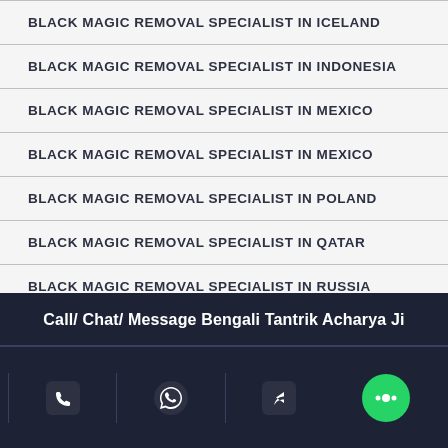BLACK MAGIC REMOVAL SPECIALIST IN ICELAND
BLACK MAGIC REMOVAL SPECIALIST IN INDONESIA
BLACK MAGIC REMOVAL SPECIALIST IN MEXICO
BLACK MAGIC REMOVAL SPECIALIST IN MEXICO
BLACK MAGIC REMOVAL SPECIALIST IN POLAND
BLACK MAGIC REMOVAL SPECIALIST IN QATAR
BLACK MAGIC REMOVAL SPECIALIST IN RUSSIA
BLACK MAGIC REMOVAL SPECIALIST IN ROMANIA
BLACK MAGIC REMOVAL SPECIALIST IN PARIS
Call/ Chat/ Message Bengali Tantrik Acharya Ji
[Figure (infographic): Bottom bar with phone, WhatsApp, share, and chat icons on dark navy background]